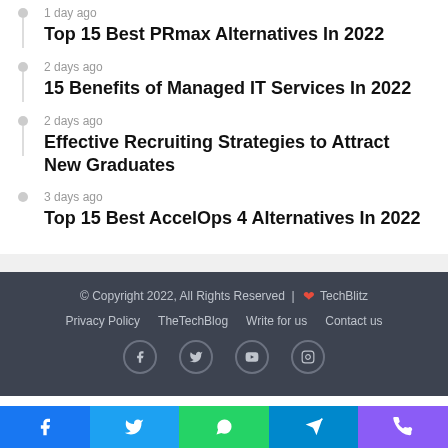1 day ago
Top 15 Best PRmax Alternatives In 2022
2 days ago
15 Benefits of Managed IT Services In 2022
2 days ago
Effective Recruiting Strategies to Attract New Graduates
3 days ago
Top 15 Best AccelOps 4 Alternatives In 2022
© Copyright 2022, All Rights Reserved | ❤ TechBlitz
Privacy Policy  TheTechBlog  Write for us  Contact us